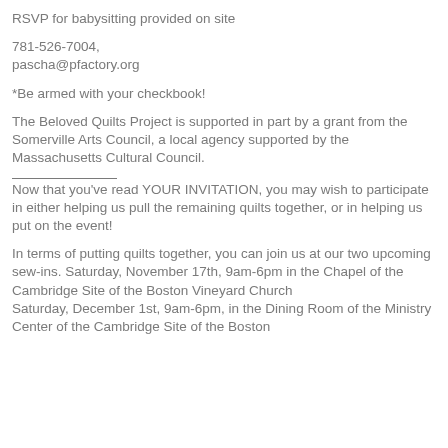RSVP for babysitting provided on site
781-526-7004,
pascha@pfactory.org
*Be armed with your checkbook!
The Beloved Quilts Project is supported in part by a grant from the Somerville Arts Council, a local agency supported by the Massachusetts Cultural Council.
Now that you've read YOUR INVITATION, you may wish to participate in either helping us pull the remaining quilts together, or in helping us put on the event!
In terms of putting quilts together, you can join us at our two upcoming sew-ins. Saturday, November 17th, 9am-6pm in the Chapel of the Cambridge Site of the Boston Vineyard Church
Saturday, December 1st, 9am-6pm, in the Dining Room of the Ministry Center of the Cambridge Site of the Boston